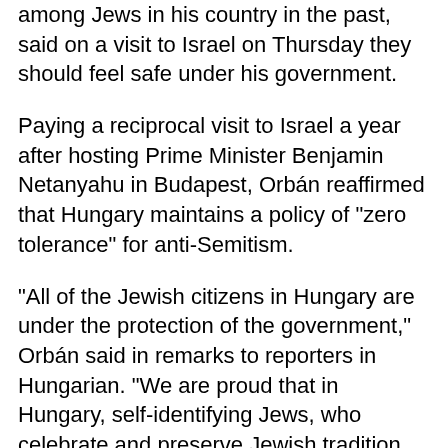among Jews in his country in the past, said on a visit to Israel on Thursday they should feel safe under his government.
Paying a reciprocal visit to Israel a year after hosting Prime Minister Benjamin Netanyahu in Budapest, Orbán reaffirmed that Hungary maintains a policy of "zero tolerance" for anti-Semitism.
"All of the Jewish citizens in Hungary are under the protection of the government," Orbán said in remarks to reporters in Hungarian. "We are proud that in Hungary, self-identifying Jews, who celebrate and preserve Jewish tradition can feel safe."
Last year, Orbán raised concerns among Hungary's Jewish community when he praised the country's interwar leader Miklos Horthy, a Hitler ally, and used an image of Jewish U.S. financier George Soros in an anti-immigration bill...